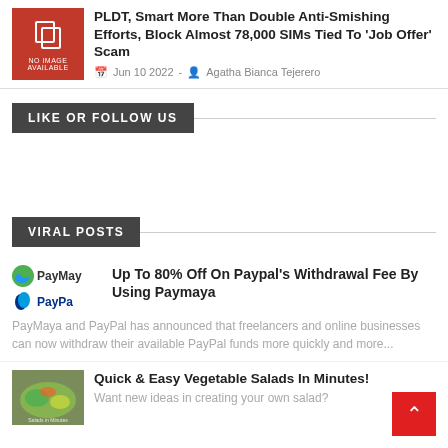[Figure (photo): Red placeholder image with 'No Image Available' text and icon]
PLDT, Smart More Than Double Anti-Smishing Efforts, Block Almost 78,000 SIMs Tied To 'Job Offer' Scam
Jun 10 2022 - Agatha Bianca Tejerero
LIKE OR FOLLOW US
VIRAL POSTS
[Figure (logo): PayMaya and PayPal logos]
Up To 80% Off On Paypal's Withdrawal Fee By Using Paymaya
PayMaya and PayPal has announced that freelancers and online businesses can now withdraw their available PayPal funds more quickly and more...
[Figure (photo): Salad dish thumbnail image]
Quick & Easy Vegetable Salads In Minutes!
Want new ideas in creating your own salad?